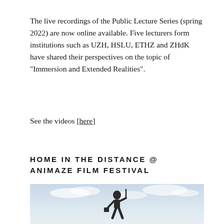The live recordings of the Public Lecture Series (spring 2022) are now online available. Five lecturers form institutions such as UZH, HSLU, ETHZ and ZHdK have shared their perspectives on the topic of "Immersion and Extended Realities".
See the videos [here]
HOME IN THE DISTANCE @ ANIMAZE FILM FESTIVAL
[Figure (photo): Outdoor photo of a dark figurine/sculpture of a humanoid character standing against a partly cloudy sky, holding what appears to be a pole and a bucket.]